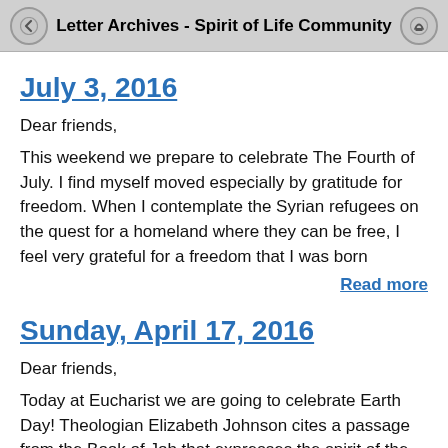Letter Archives - Spirit of Life Community
July 3, 2016
Dear friends,
This weekend we prepare to celebrate The Fourth of July. I find myself moved especially by gratitude for freedom. When I contemplate the Syrian refugees on the quest for a homeland where they can be free, I feel very grateful for a freedom that I was born
Read more
Sunday, April 17, 2016
Dear friends,
Today at Eucharist we are going to celebrate Earth Day! Theologian Elizabeth Johnson cites a passage from the Book of Job that expresses the spirit of the day: "And the